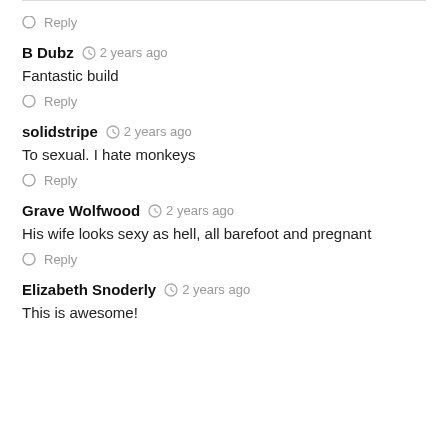Reply
B Dubz  2 years ago
Fantastic build
Reply
solidstripe  2 years ago
To sexual. I hate monkeys
Reply
Grave Wolfwood  2 years ago
His wife looks sexy as hell, all barefoot and pregnant
Reply
Elizabeth Snoderly  2 years ago
This is awesome!